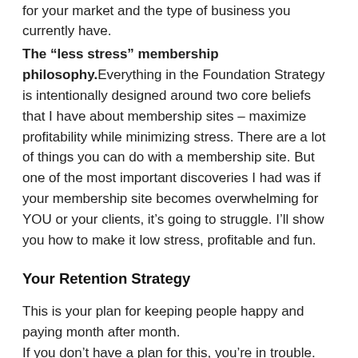for your market and the type of business you currently have.
The “less stress” membership philosophy. Everything in the Foundation Strategy is intentionally designed around two core beliefs that I have about membership sites – maximize profitability while minimizing stress. There are a lot of things you can do with a membership site. But one of the most important discoveries I had was if your membership site becomes overwhelming for YOU or your clients, it’s going to struggle. I’ll show you how to make it low stress, profitable and fun.
Your Retention Strategy
This is your plan for keeping people happy and paying month after month.
If you don’t have a plan for this, you’re in trouble.
If you aren’t intentional about designing a retention strategy, you will lose a lot of people each month – and therefore a lot of money.
This is THE most valuable module if you want to maximize your